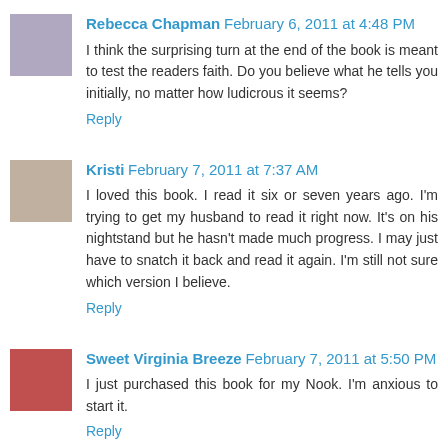Rebecca Chapman February 6, 2011 at 4:48 PM
I think the surprising turn at the end of the book is meant to test the readers faith. Do you believe what he tells you initially, no matter how ludicrous it seems?
Reply
Kristi February 7, 2011 at 7:37 AM
I loved this book. I read it six or seven years ago. I'm trying to get my husband to read it right now. It's on his nightstand but he hasn't made much progress. I may just have to snatch it back and read it again. I'm still not sure which version I believe.
Reply
Sweet Virginia Breeze February 7, 2011 at 5:50 PM
I just purchased this book for my Nook. I'm anxious to start it.
Reply